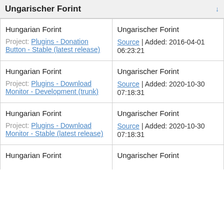Ungarischer Forint
| Source language | Target language |
| --- | --- |
| Hungarian Forint
Project: Plugins - Donation Button - Stable (latest release) | Ungarischer Forint
Source | Added: 2016-04-01 06:23:21 |
| Hungarian Forint
Project: Plugins - Download Monitor - Development (trunk) | Ungarischer Forint
Source | Added: 2020-10-30 07:18:31 |
| Hungarian Forint
Project: Plugins - Download Monitor - Stable (latest release) | Ungarischer Forint
Source | Added: 2020-10-30 07:18:31 |
| Hungarian Forint | Ungarischer Forint |